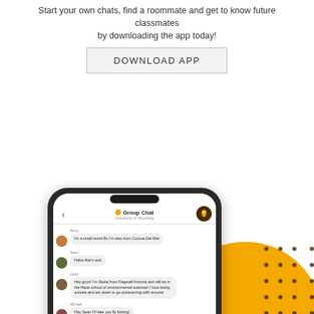Start your own chats, find a roommate and get to know future classmates by downloading the app today!
DOWNLOAD APP
[Figure (screenshot): Smartphone mockup showing a group chat interface for University of Wyoming, with chat messages from Race, Sean, sadie, Michael, and JT, with a yellow decorative circle and dot grid pattern in the background.]